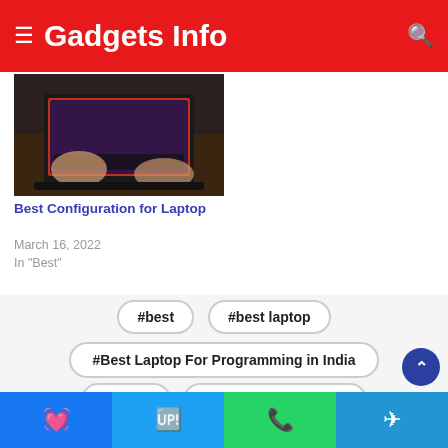Gadgets Info
[Figure (photo): Person using a dark red/black gaming laptop on a desk, viewed from above]
Best Configuration for Laptop
March 16, 2022
In "Best"
#best
#best laptop
#Best Laptop For Programming in India
#laptop
#programming laptop
Facebook | Twitter | WhatsApp | Telegram